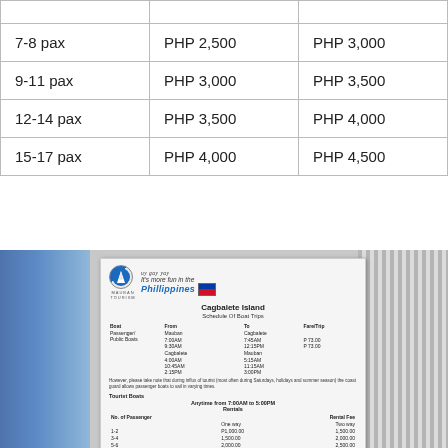|  |  |  |
| --- | --- | --- |
| 7-8 pax | PHP 2,500 | PHP 3,000 |
| 9-11 pax | PHP 3,000 | PHP 3,500 |
| 12-14 pax | PHP 3,500 | PHP 4,000 |
| 15-17 pax | PHP 4,000 | PHP 4,500 |
[Figure (photo): Photograph of a tourism sign board at Mauban Tourism showing Cagbalete Island Schedule of Boat Trips, with 'It's more fun in the Philippines' branding. Sign shows passenger boat schedules and tourist boat rental rates. Blue metal structures visible on left and metal grating on right.]